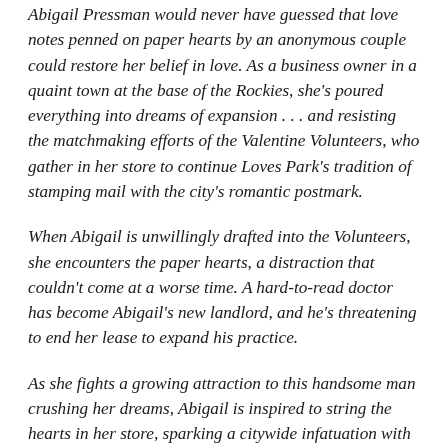Abigail Pressman would never have guessed that love notes penned on paper hearts by an anonymous couple could restore her belief in love. As a business owner in a quaint town at the base of the Rockies, she's poured everything into dreams of expansion . . . and resisting the matchmaking efforts of the Valentine Volunteers, who gather in her store to continue Loves Park's tradition of stamping mail with the city's romantic postmark.
When Abigail is unwillingly drafted into the Volunteers, she encounters the paper hearts, a distraction that couldn't come at a worse time. A hard-to-read doctor has become Abigail's new landlord, and he's threatening to end her lease to expand his practice.
As she fights a growing attraction to this handsome man crushing her dreams, Abigail is inspired to string the hearts in her store, sparking a citywide infatuation with the artsy trend. But when a new batch of hearts reaches the Volunteers, it appears something tragic has happened to the couple. Will uncovering their story confirm Abigail's doubts about love, or could it rescue her dreams